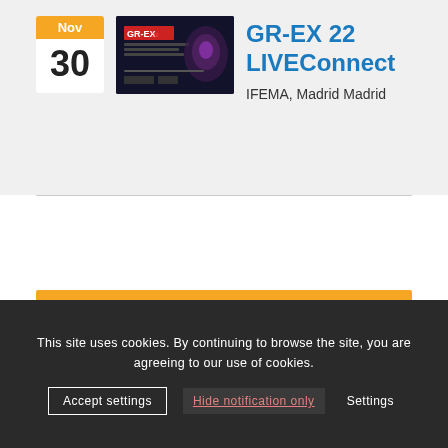[Figure (screenshot): GR-EX 22 LIVEConnect event card showing date badge Nov 30, event banner image with dark background and GR-EX branding, event title and location]
GR-EX 22 LIVEConnect
IFEMA, Madrid Madrid
SUBSCRIBE TO OUR NEWSLETTER
This site uses cookies. By continuing to browse the site, you are agreeing to our use of cookies.
Accept settings  Hide notification only  Settings